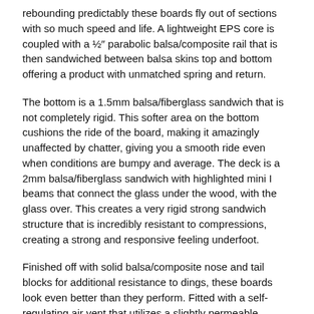rebounding predictably these boards fly out of sections with so much speed and life. A lightweight EPS core is coupled with a ½" parabolic balsa/composite rail that is then sandwiched between balsa skins top and bottom offering a product with unmatched spring and return.
The bottom is a 1.5mm balsa/fiberglass sandwich that is not completely rigid. This softer area on the bottom cushions the ride of the board, making it amazingly unaffected by chatter, giving you a smooth ride even when conditions are bumpy and average. The deck is a 2mm balsa/fiberglass sandwich with highlighted mini I beams that connect the glass under the wood, with the glass over. This creates a very rigid strong sandwich structure that is incredibly resistant to compressions, creating a strong and responsive feeling underfoot.
Finished off with solid balsa/composite nose and tail blocks for additional resistance to dings, these boards look even better than they perform. Fitted with a self-regulating air vent that utilizes a slightly permeable Goretex membrane encased in a special aluminum vent designed and engineered by TBF, Morphlex boards